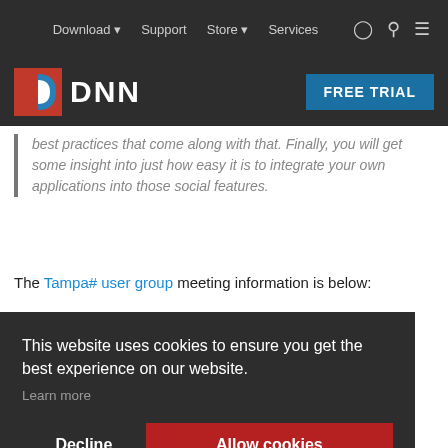Download  Support  Store  Services
[Figure (logo): DNN logo with red and blue D icon and DNN text in white, on dark background. Free Trial button in blue on right.]
best practices that come along with that. Finally, you will get some insight into just how easy it is to integrate your own applications into those social features.
The Tampa# user group meeting information is below:
This website uses cookies to ensure you get the best experience on our website.
Learn more
Decline   Allow cookies
This blog entry is cross-posted from my personal blog